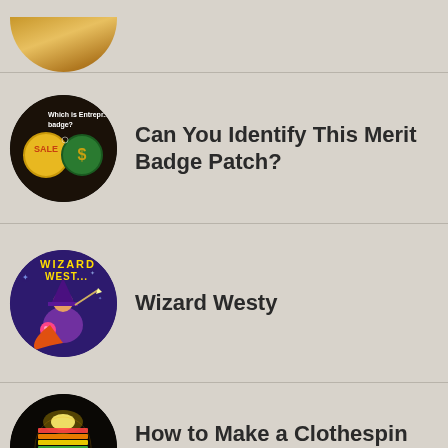[Figure (other): Partial circular image at top, cropped - appears to show a golden/wheat colored object]
Can You Identify This Merit Badge Patch?
Wizard Westy
How to Make a Clothespin Lamp